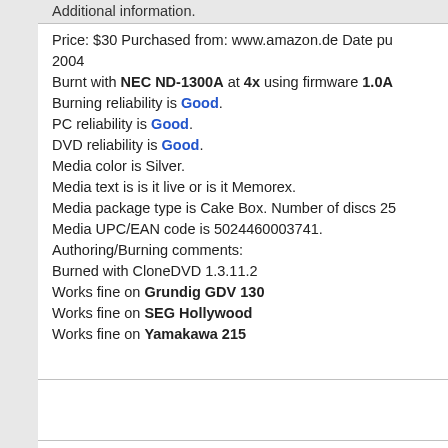Additional information.
Price: $30 Purchased from: www.amazon.de Date pu... 2004
Burnt with NEC ND-1300A at 4x using firmware 1.0A
Burning reliability is Good.
PC reliability is Good.
DVD reliability is Good.
Media color is Silver.
Media text is is it live or is it Memorex.
Media package type is Cake Box. Number of discs 25
Media UPC/EAN code is 5024460003741.
Authoring/Burning comments:
Burned with CloneDVD 1.3.11.2
Works fine on Grundig GDV 130
Works fine on SEG Hollywood
Works fine on Yamakawa 215
Comments posted by nk from United States, March O